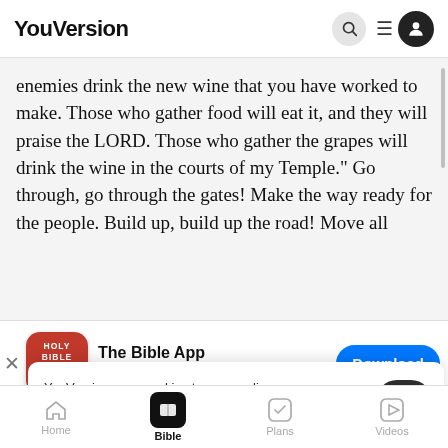YouVersion
enemies drink the new wine that you have worked to make. Those who gather food will eat it, and they will praise the LORD. Those who gather the grapes will drink the wine in the courts of my Temple." Go through, go through the gates! Make the way ready for the people. Build up, build up the road! Move all
[Figure (screenshot): App store banner for The Bible App with Holy Bible icon, star rating 7.9M reviews, and Download button]
Savior is coming. He is bringing your reward to you; he is bri... be calle... LORD, a... Wants the City God Has Not Rejected
YouVersion uses cookies to personalize your experience. By using our website, you accept our use of cookies as described in our Privacy Policy.
Home   Bible   Plans   Videos